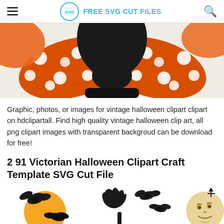FREE SVG CUT FILES
[Figure (illustration): Close-up of a vintage Halloween black cat clipart wearing an orange and white polka dot bow tie/ribbon, with dark background and aged paper texture.]
Graphic, photos, or images for vintage halloween clipart clipart on hdclipartall. Find high quality vintage halloween clip art, all png clipart images with transparent backgroud can be download for free!
2 91 Victorian Halloween Clipart Craft Template SVG Cut File
[Figure (illustration): Bottom strip showing multiple vintage Halloween clipart illustrations: bats flying in front of orange moon, a ghost/cat silhouette, flying bats, and a vintage smiling moon face illustration.]